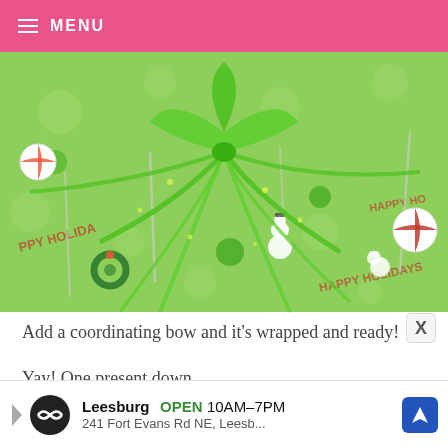≡ MENU
[Figure (photo): A green gift-wrapped present with a large green glitter ribbon bow on top. The wrapping paper is light green with polka dots and features Christmas-themed prints including 'HAPPY HOLIDAYS' text, candy canes, snowmen, wreaths, polar bears, and peppermint candies.]
Add a coordinating bow and it's wrapped and ready!
Yay! One present down.
Leesburg  OPEN  10AM–7PM  241 Fort Evans Rd NE, Leesb...